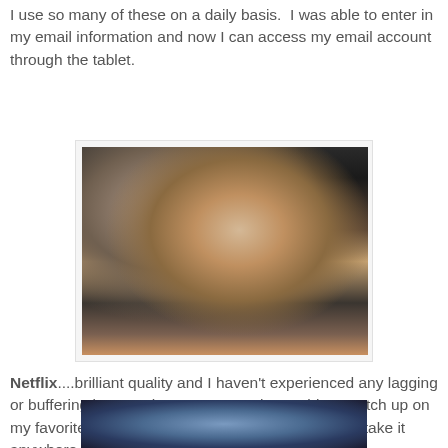I use so many of these on a daily basis.  I was able to enter in my email information and now I can access my email account through the tablet.
[Figure (photo): A tablet device displaying a video/movie with a blonde woman on screen, resting on a colorful crocheted surface]
Netflix....brilliant quality and I haven't experienced any lagging or buffering issues whatsoever.  I've been able to catch up on my favorite TV shows, watch movies and best part, take it anywhere I go that has wifi access.
[Figure (photo): Partial view of a tablet device showing a screen with what appears to be a Facebook or similar social media interface]